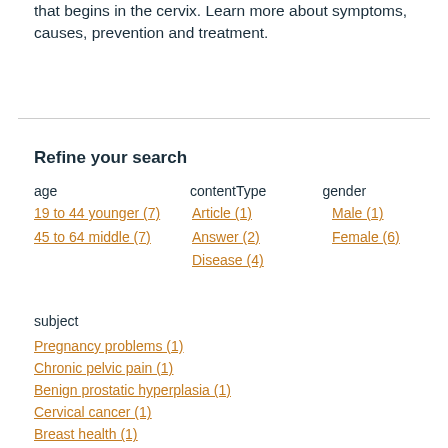that begins in the cervix. Learn more about symptoms, causes, prevention and treatment.
Refine your search
age   contentType   gender
19 to 44 younger (7)
45 to 64 middle (7)
Article (1)
Answer (2)
Disease (4)
Male (1)
Female (6)
subject
Pregnancy problems (1)
Chronic pelvic pain (1)
Benign prostatic hyperplasia (1)
Cervical cancer (1)
Breast health (1)
Ectopic pregnancy (1)